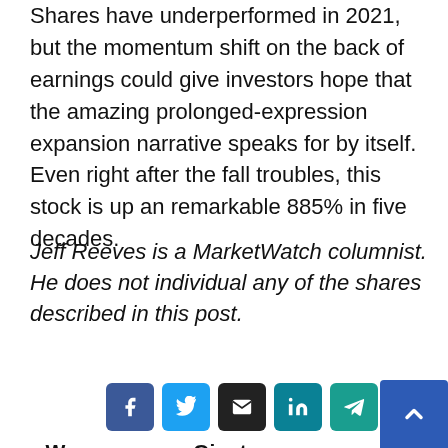Shares have underperformed in 2021, but the momentum shift on the back of earnings could give investors hope that the amazing prolonged-expression expansion narrative speaks for by itself. Even right after the fall troubles, this stock is up an remarkable 885% in five decades.
Jeff Reeves is a MarketWatch columnist. He does not individual any of the shares described in this post.
[Figure (other): Social share buttons: Facebook, Twitter, Email, LinkedIn, Telegram, Pinterest]
« Wager on source chains, cybersecurity and e-commerce
Giant supermarket opens e-commerce warehouse in Southwest Philly,